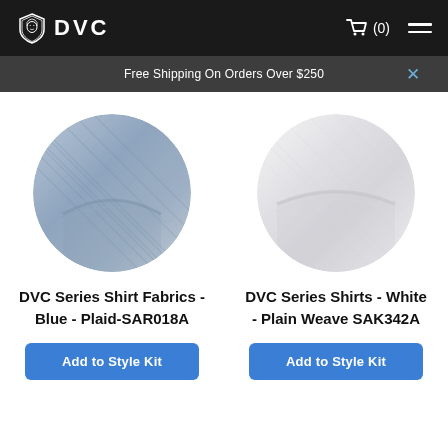DVC
Free Shipping On Orders Over $250
[Figure (photo): Circular cropped close-up photo of blue plaid shirt fabric]
DVC Series Shirt Fabrics - Blue - Plaid-SAR018A
Add to Style Kit
[Figure (photo): Circular cropped close-up photo of white plain weave shirt fabric]
DVC Series Shirts - White - Plain Weave SAK342A
Add to Style Kit